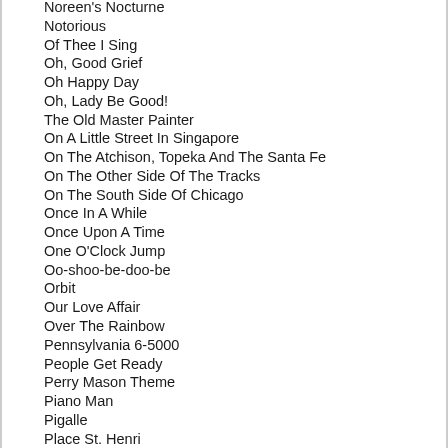Noreen's Nocturne
Notorious
Of Thee I Sing
Oh, Good Grief
Oh Happy Day
Oh, Lady Be Good!
The Old Master Painter
On A Little Street In Singapore
On The Atchison, Topeka And The Santa Fe
On The Other Side Of The Tracks
On The South Side Of Chicago
Once In A While
Once Upon A Time
One O'Clock Jump
Oo-shoo-be-doo-be
Orbit
Our Love Affair
Over The Rainbow
Pennsylvania 6-5000
People Get Ready
Perry Mason Theme
Piano Man
Pigalle
Place St. Henri